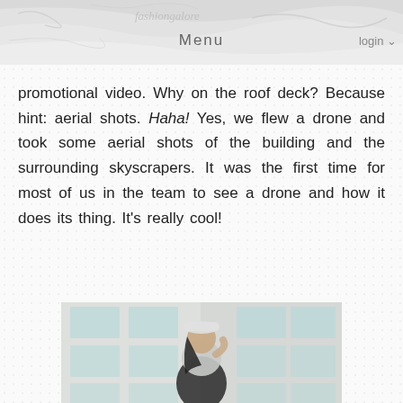Menu  login
promotional video. Why on the roof deck? Because hint: aerial shots. Haha! Yes, we flew a drone and took some aerial shots of the building and the surrounding skyscrapers. It was the first time for most of us in the team to see a drone and how it does its thing. It's really cool!
[Figure (photo): A young woman wearing a white cap, light grey short-sleeve top, and black skirt, standing outdoors in front of a modern building with grid-like windows and balconies.]